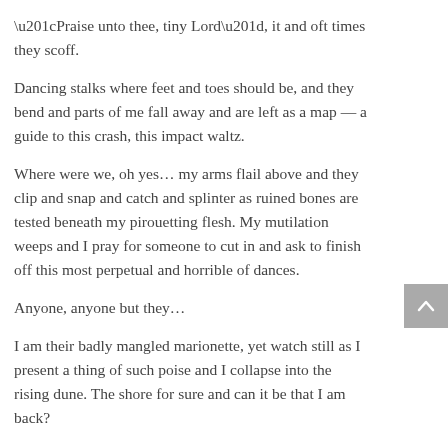“Praise unto thee, tiny Lord”, it and oft times they scoff.
Dancing stalks where feet and toes should be, and they bend and parts of me fall away and are left as a map — a guide to this crash, this impact waltz.
Where were we, oh yes… my arms flail above and they clip and snap and catch and splinter as ruined bones are tested beneath my pirouetting flesh. My mutilation weeps and I pray for someone to cut in and ask to finish off this most perpetual and horrible of dances.
Anyone, anyone but they…
I am their badly mangled marionette, yet watch still as I present a thing of such poise and I collapse into the rising dune. The shore for sure and can it be that I am back?